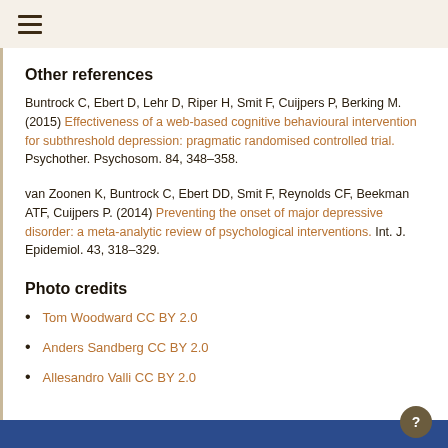☰ (hamburger menu icon)
Other references
Buntrock C, Ebert D, Lehr D, Riper H, Smit F, Cuijpers P, Berking M. (2015) Effectiveness of a web-based cognitive behavioural intervention for subthreshold depression: pragmatic randomised controlled trial. Psychother. Psychosom. 84, 348–358.
van Zoonen K, Buntrock C, Ebert DD, Smit F, Reynolds CF, Beekman ATF, Cuijpers P. (2014) Preventing the onset of major depressive disorder: a meta-analytic review of psychological interventions. Int. J. Epidemiol. 43, 318–329.
Photo credits
Tom Woodward CC BY 2.0
Anders Sandberg CC BY 2.0
Allesandro Valli CC BY 2.0